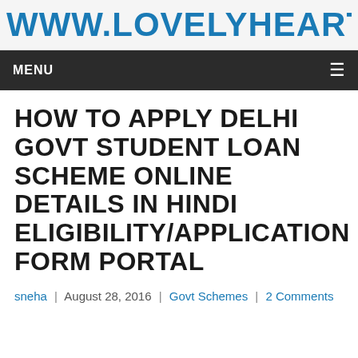WWW.LOVELYHEART.IN
HOW TO APPLY DELHI GOVT STUDENT LOAN SCHEME ONLINE DETAILS IN HINDI ELIGIBILITY/APPLICATION FORM PORTAL
sneha | August 28, 2016 | Govt Schemes | 2 Comments